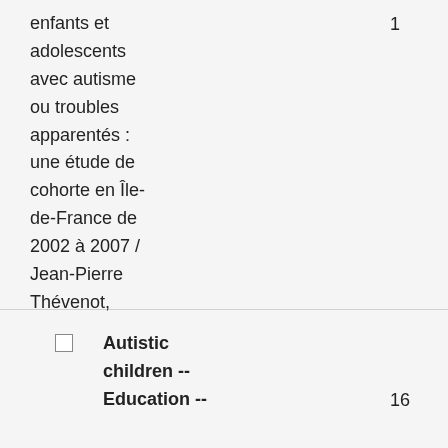enfants et adolescents avec autisme ou troubles apparentés : une étude de cohorte en Île-de-France de 2002 à 2007 / Jean-Pierre Thévenot, Alain Philippe, Françoise Casadebaig
1
Autistic children -- Education --
16